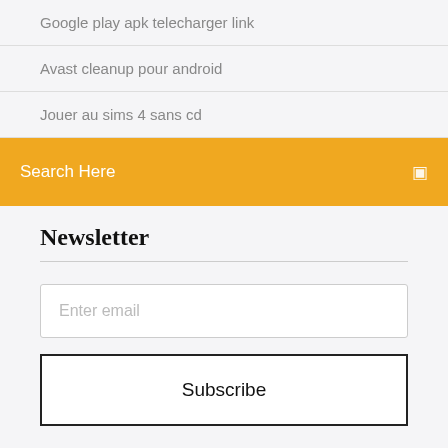Google play apk telecharger link
Avast cleanup pour android
Jouer au sims 4 sans cd
Search Here
Newsletter
Enter email
Subscribe